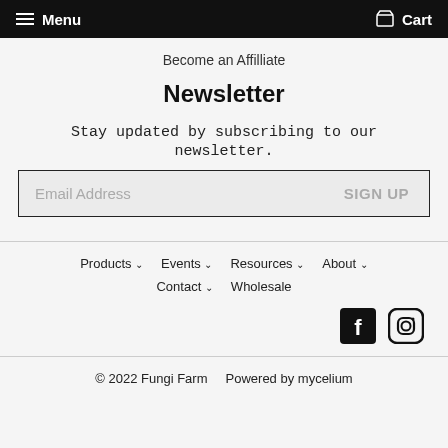Menu | Cart
Become an Affilliate
Newsletter
Stay updated by subscribing to our newsletter.
Email Address | SIGN UP
Products ∨   Events ∨   Resources ∨   About ∨   Contact ∨   Wholesale
[Figure (other): Facebook and Instagram social media icons]
© 2022 Fungi Farm   Powered by mycelium